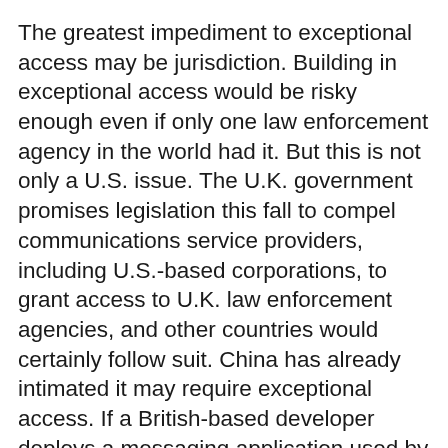The greatest impediment to exceptional access may be jurisdiction. Building in exceptional access would be risky enough even if only one law enforcement agency in the world had it. But this is not only a U.S. issue. The U.K. government promises legislation this fall to compel communications service providers, including U.S.-based corporations, to grant access to U.K. law enforcement agencies, and other countries would certainly follow suit. China has already intimated it may require exceptional access. If a British-based developer deploys a messaging application used by citizens of China, must it provide exceptional access to Chinese law enforcement? Which countries have sufficient respect for the rule of law to participate in an international exceptional access framework? How would such determinations be made? How would timely approvals be given for the millions of new products with communications capabilities? And how would this new surveillance ecosystem be funded and supervised? The U.S. and U.K. governments have